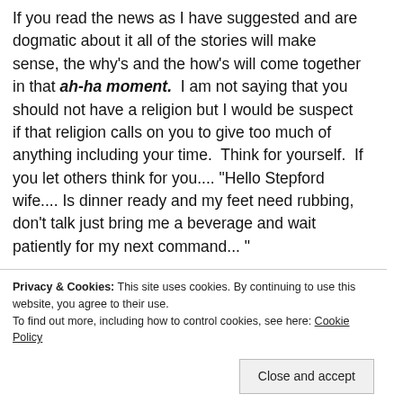If you read the news as I have suggested and are dogmatic about it all of the stories will make sense, the why's and the how's will come together in that ah-ha moment. I am not saying that you should not have a religion but I would be suspect if that religion calls on you to give too much of anything including your time. Think for yourself. If you let others think for you.... "Hello Stepford wife.... Is dinner ready and my feet need rubbing, don't talk just bring me a beverage and wait patiently for my next command..."
[Figure (photo): A woman wearing a large sun hat outdoors with trees in the background, appearing to be a scene from The Stepford Wives film.]
Privacy & Cookies: This site uses cookies. By continuing to use this website, you agree to their use. To find out more, including how to control cookies, see here: Cookie Policy